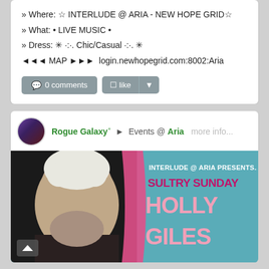» Where: ☆ INTERLUDE @ ARIA - NEW HOPE GRID☆
» What: • LIVE MUSIC •
» Dress: ✳ ·:·. Chic/Casual ·:·. ✳
◄◄◄ MAP ►►►  login.newhopegrid.com:8002:Aria
0 comments
like
Rogue Galaxy⁺ ► Events @ Aria   more info...
[Figure (photo): Event promotional banner for INTERLUDE @ ARIA PRESENTS.. SULTRY SUNDAY HOLLY GILES, showing a pale-haired female avatar on the left and pink/magenta text on a teal background on the right.]